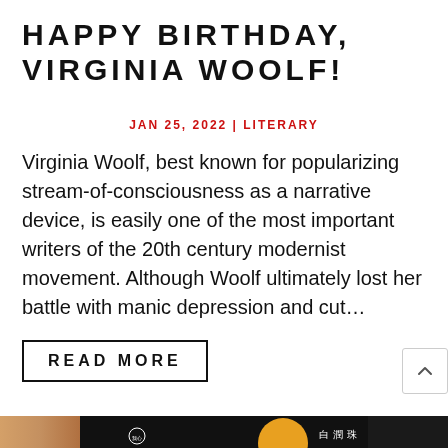HAPPY BIRTHDAY, VIRGINIA WOOLF!
JAN 25, 2022 | LITERARY
Virginia Woolf, best known for popularizing stream-of-consciousness as a narrative device, is easily one of the most important writers of the 20th century modernist movement. Although Woolf ultimately lost her battle with manic depression and cut...
READ MORE
[Figure (photo): Product photo strip showing skincare products with Chinese characters, including 'My Scheming' brand packaging with black and gold design elements]